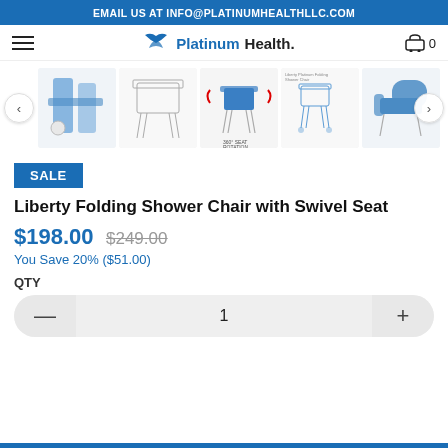EMAIL US AT INFO@PLATINUMHEALTHLLC.COM
[Figure (logo): PlatinumHealth logo with wing icon and navigation bar including hamburger menu and shopping cart]
[Figure (photo): Product image carousel showing Liberty Folding Shower Chair with Swivel Seat from multiple angles, including close-up, line drawing, 360-degree seat rotation diagram, dimension diagram, and side view. Navigation arrows on left and right.]
SALE
Liberty Folding Shower Chair with Swivel Seat
$198.00 $249.00
You Save 20% ($51.00)
QTY
1